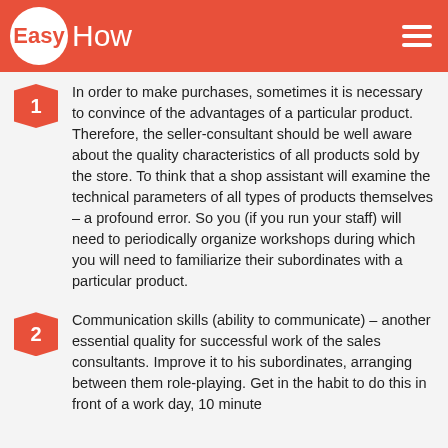EasyHow
In order to make purchases, sometimes it is necessary to convince of the advantages of a particular product. Therefore, the seller-consultant should be well aware about the quality characteristics of all products sold by the store. To think that a shop assistant will examine the technical parameters of all types of products themselves – a profound error. So you (if you run your staff) will need to periodically organize workshops during which you will need to familiarize their subordinates with a particular product.
Communication skills (ability to communicate) – another essential quality for successful work of the sales consultants. Improve it to his subordinates, arranging between them role-playing. Get in the habit to do this in front of a work day, 10 minute